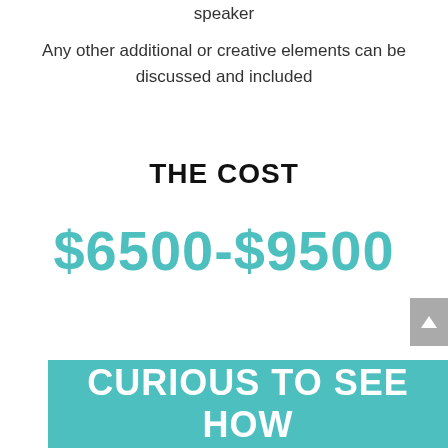speaker
Any other additional or creative elements can be discussed and included
THE COST
$6500-$9500
CURIOUS TO SEE HOW